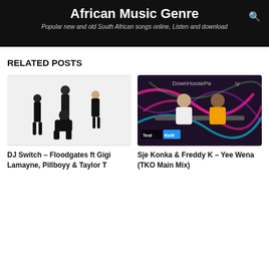African Music Genre
Popular new and old South African songs online, Listen and download
RELATED POSTS
[Figure (photo): Four people in black outfits posing against a white background — three standing and one crouching in the front]
DJ Switch – Floodgates ft Gigi Lamayne, Pillboyy & Taylor T
[Figure (photo): Two DJs at a DJ booth wearing matching outfits in front of a colorful neon graphic background with 'DownHouseParty' text and 'Test RaW' label overlay]
Sje Konka & Freddy K – Yee Wena (TKO Main Mix)